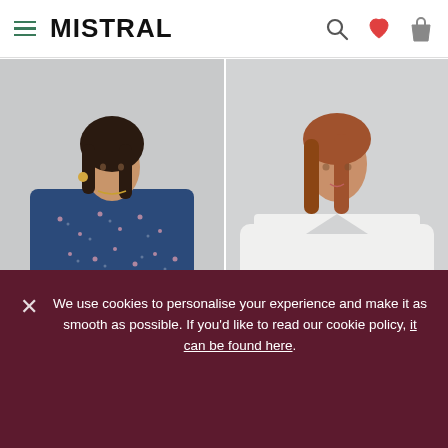MISTRAL
[Figure (photo): Two fashion model photos side by side: left model wears a blue floral long-sleeve dress with arms crossed; right model wears a white long-sleeve V-neck top with a dark patterned skirt.]
We use cookies to personalise your experience and make it as smooth as possible. If you’d like to read our cookie policy, it can be found here.